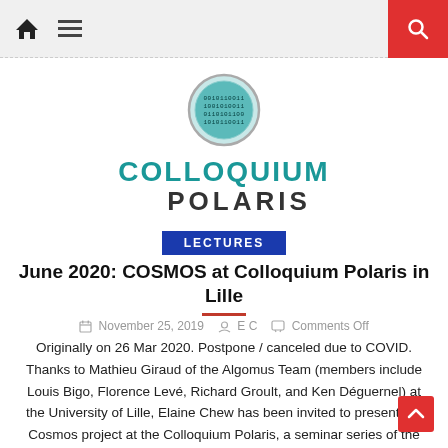Colloquium Polaris – navigation bar with home, menu, and search icons
[Figure (logo): Colloquium Polaris logo: circular badge with binary code pattern in teal, text COLLOQUIUM POLARIS below]
LECTURES
June 2020: COSMOS at Colloquium Polaris in Lille
November 25, 2019  E C  Comments Off
Originally on 26 Mar 2020. Postpone / canceled due to COVID. Thanks to Mathieu Giraud of the Algomus Team (members include Louis Bigo, Florence Levé, Richard Groult, and Ken Déguernel) at the University of Lille, Elaine Chew has been invited to present the Cosmos project at the Colloquium Polaris, a seminar series of the CRIStAL [...]